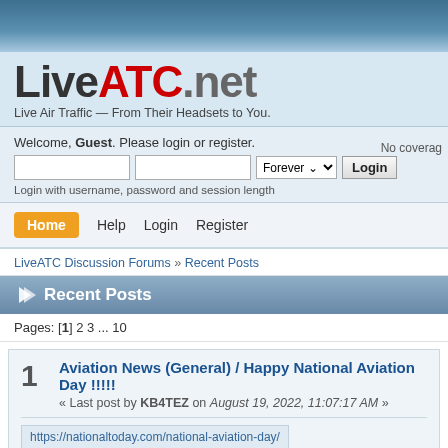[Figure (logo): LiveATC.net logo with tagline 'Live Air Traffic — From Their Headsets to You.']
Welcome, Guest. Please login or register.
Login with username, password and session length
No coverage
Home   Help   Login   Register
LiveATC Discussion Forums » Recent Posts
Recent Posts
Pages: [1] 2 3 ... 10
1  Aviation News (General) / Happy National Aviation Day !!!!!
« Last post by KB4TEZ on August 19, 2022, 11:07:17 AM »
https://nationaltoday.com/national-aviation-day/